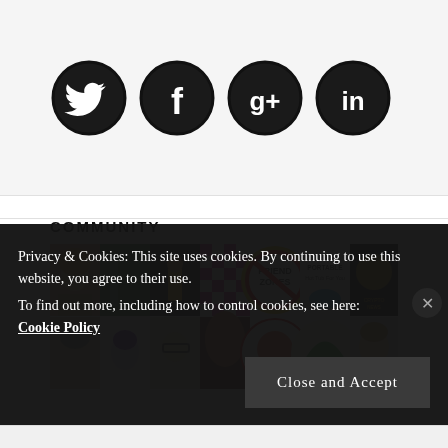[Figure (illustration): Four social media icons in dark circular frames: Twitter bird, Facebook f, Google+, LinkedIn in]
COMMUNITY
[Figure (photo): Grid of community member profile photos and logos including headshots, nature photo, person in yellow suit, pink checkerboard pattern, Friend Zones sign, Portable Hot Tub For You logo, a cryptocurrency news logo, and more faces]
Privacy & Cookies: This site uses cookies. By continuing to use this website, you agree to their use.
To find out more, including how to control cookies, see here: Cookie Policy
Close and Accept